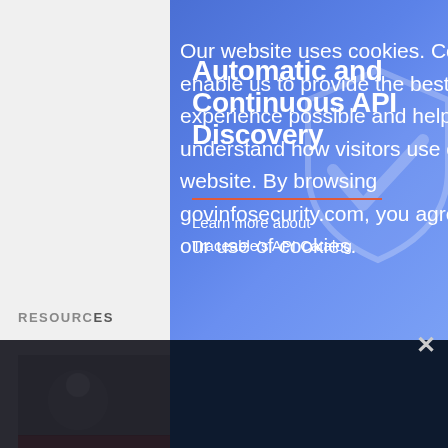[Figure (illustration): Advertisement banner with blue gradient background showing 'Automatic and Continuous API Discovery' with a shield/checkmark icon and red divider line, plus text 'Learn more about Traceable's API Catalog']
Our website uses cookies. Cookies enable us to provide the best experience possible and help us understand how visitors use our website. By browsing govinfosecurity.com, you agree to our use of cookies.
RESOURCES
Live Webinar | BEC: Did You Get Trapped in That Conversation?